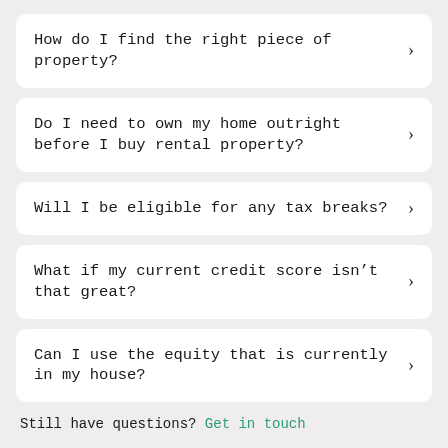How do I find the right piece of property?
Do I need to own my home outright before I buy rental property?
Will I be eligible for any tax breaks?
What if my current credit score isn't that great?
Can I use the equity that is currently in my house?
Still have questions? Get in touch